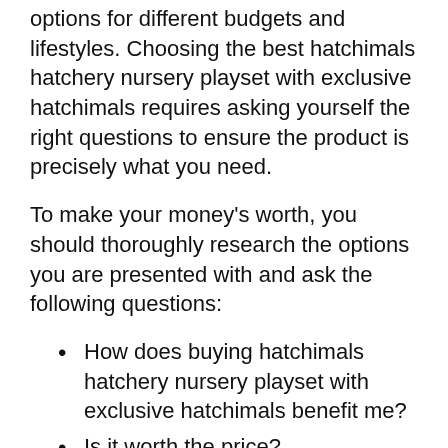options for different budgets and lifestyles. Choosing the best hatchimals hatchery nursery playset with exclusive hatchimals requires asking yourself the right questions to ensure the product is precisely what you need.
To make your money's worth, you should thoroughly research the options you are presented with and ask the following questions:
How does buying hatchimals hatchery nursery playset with exclusive hatchimals benefit me?
Is it worth the price?
Which hatchimals hatchery nursery playset with exclusive hatchimals is